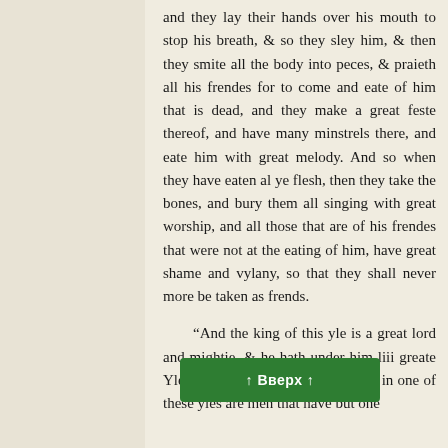and they lay their hands over his mouth to stop his breath, & so they sley him, & then they smite all the body into peces, & praieth all his frendes for to come and eate of him that is dead, and they make a great feste thereof, and have many minstrels there, and eate him with great melody. And so when they have eaten al ye flesh, then they take the bones, and bury them all singing with great worship, and all those that are of his frendes that were not at the eating of him, have great shame and vylany, so that they shall never more be taken as frends.
“And the king of this yle is a great lord and mightie, & he hath under him liii greate Yles, and eche of [Вверх] nd in one of these yles are men that have but one